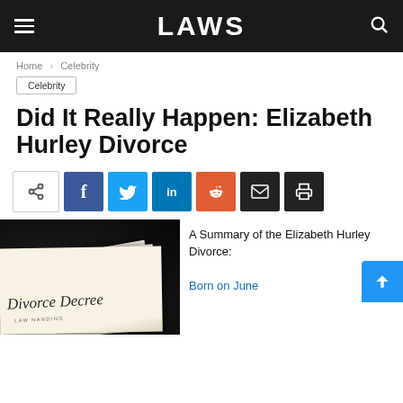LAWS
Home › Celebrity
Celebrity
Did It Really Happen: Elizabeth Hurley Divorce
[Figure (infographic): Row of share buttons: share icon, Facebook, Twitter, LinkedIn, Reddit, Email, Print]
[Figure (photo): Dark background with angled divorce decree paper documents, cursive text reading 'Divorce Decree']
A Summary of the Elizabeth Hurley Divorce:
Born on June